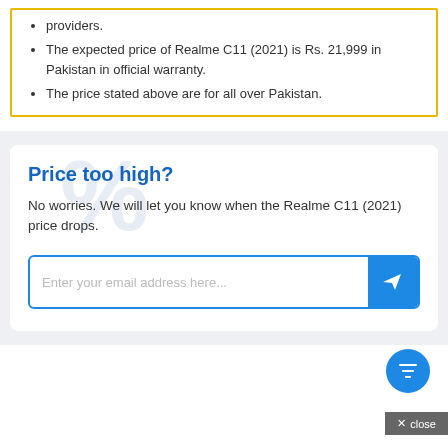providers.
The expected price of Realme C11 (2021) is Rs. 21,999 in Pakistan in official warranty.
The price stated above are for all over Pakistan.
Price too high?
No worries. We will let you know when the Realme C11 (2021) price drops.
[Figure (other): Email input field with placeholder 'Enter your email address here...' and a send button with paper plane icon]
[Figure (other): Blue circular filter button at bottom right]
× close